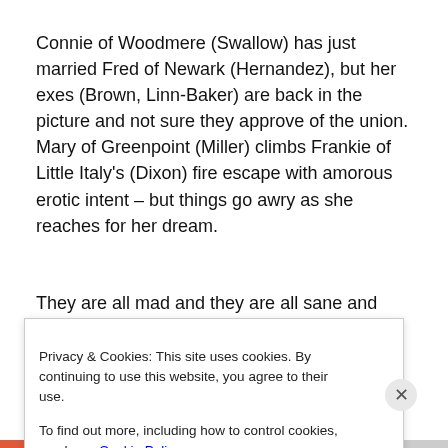Connie of Woodmere (Swallow) has just married Fred of Newark (Hernandez), but her exes (Brown, Linn-Baker) are back in the picture and not sure they approve of the union. Mary of Greenpoint (Miller) climbs Frankie of Little Italy's (Dixon) fire escape with amorous erotic intent – but things go awry as she reaches for her dream.
They are all mad and they are all sane and they are all creating ROMANTIC POETRY. Serving emotion and the
Privacy & Cookies: This site uses cookies. By continuing to use this website, you agree to their use.
To find out more, including how to control cookies, see here: Cookie Policy